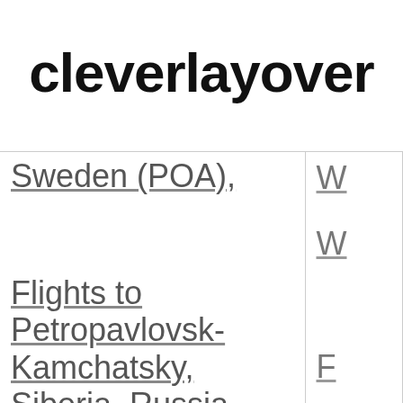cleverlayover
Sweden (POA),
Flights to Petropavlovsk-Kamchatsky, Siberia, Russia